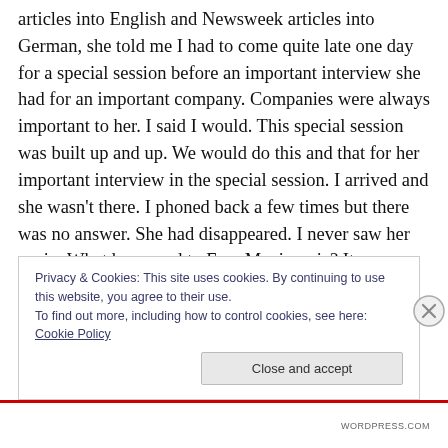articles into English and Newsweek articles into German, she told me I had to come quite late one day for a special session before an important interview she had for an important company. Companies were always important to her. I said I would. This special session was built up and up. We would do this and that for her important interview in the special session. I arrived and she wasn't there. I phoned back a few times but there was no answer. She had disappeared. I never saw her again. What happened to Frau Maximovic? It was mysterious. I suppose she was just part of the flotsam and jetsam of metropolitain life.
Privacy & Cookies: This site uses cookies. By continuing to use this website, you agree to their use.
To find out more, including how to control cookies, see here: Cookie Policy
Close and accept